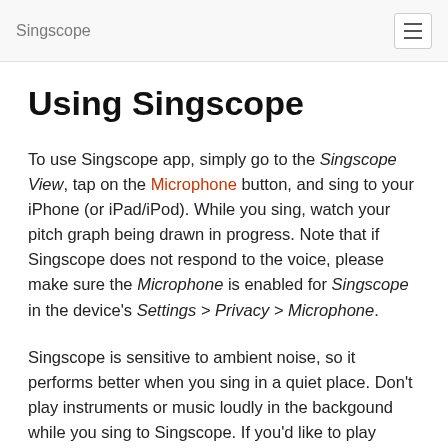Singscope
Using Singscope
To use Singscope app, simply go to the Singscope View, tap on the Microphone button, and sing to your iPhone (or iPad/iPod). While you sing, watch your pitch graph being drawn in progress. Note that if Singscope does not respond to the voice, please make sure the Microphone is enabled for Singscope in the device's Settings > Privacy > Microphone.
Singscope is sensitive to ambient noise, so it performs better when you sing in a quiet place. Don't play instruments or music loudly in the backgound while you sing to Singscope. If you'd like to play music for